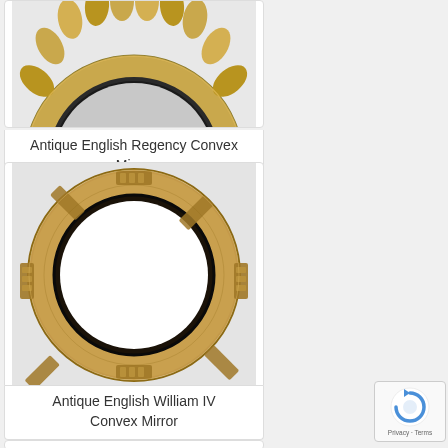[Figure (photo): Antique English Regency Convex Mirror with gold leaf frame featuring laurel/foliage decoration, partially visible (top portion cropped)]
Antique English Regency Convex Mirror
[Figure (photo): Antique English William IV Convex Mirror with round gold frame featuring ribbed/reeded decoration, fully visible]
Antique English William IV Convex Mirror
[Figure (photo): Partially visible card at the bottom of the page]